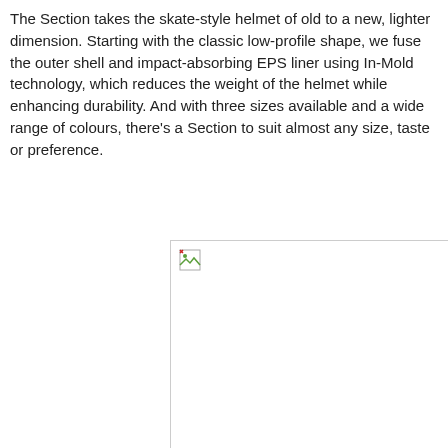The Section takes the skate-style helmet of old to a new, lighter dimension. Starting with the classic low-profile shape, we fuse the outer shell and impact-absorbing EPS liner using In-Mold technology, which reduces the weight of the helmet while enhancing durability. And with three sizes available and a wide range of colours, there's a Section to suit almost any size, taste or preference.
[Figure (photo): Broken/missing image placeholder in the lower-right portion of the page, showing a small broken image icon in the top-left corner of the image area.]